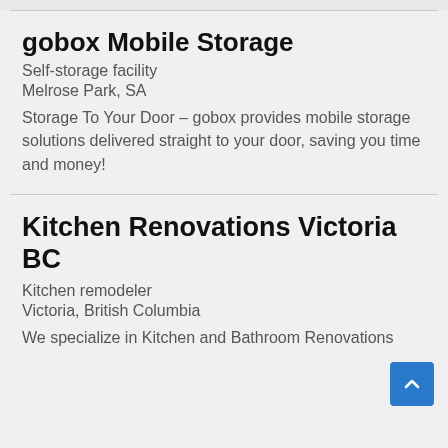gobox Mobile Storage
Self-storage facility
Melrose Park, SA
Storage To Your Door – gobox provides mobile storage solutions delivered straight to your door, saving you time and money!
Kitchen Renovations Victoria BC
Kitchen remodeler
Victoria, British Columbia
We specialize in Kitchen and Bathroom Renovations